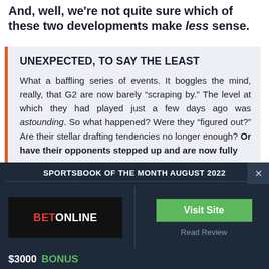And, well, we're not quite sure which of these two developments make less sense.
UNEXPECTED, TO SAY THE LEAST
What a baffling series of events. It boggles the mind, really, that G2 are now barely “scraping by.” The level at which they had played just a few days ago was astounding. So what happened? Were they “figured out?” Are their stellar drafting tendencies no longer enough? Or have their opponents stepped up and are now fully
SPORTSBOOK OF THE MONTH AUGUST 2022
[Figure (logo): BetOnline logo - black background with BET in red and ONLINE in white]
Visit Site
$3000 BONUS
Read Review